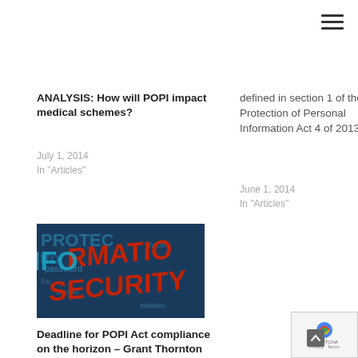☰
defined in section 1 of the Protection of Personal Information Act 4 of 2013
June 1, 2014
In "Articles"
ANALYSIS: How will POPI impact medical schemes?
July 1, 2014
In "Articles"
[Figure (photo): Information security word cloud image with red text spelling INFORMATION SECURITY on dark blue background]
Deadline for POPI Act compliance on the horizon – Grant Thornton
March 28, 2017
In "Articles"